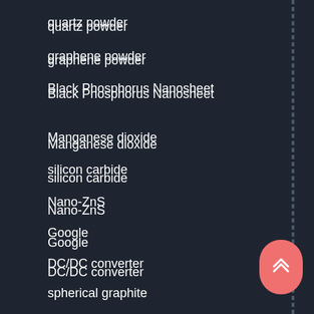quartz powder
graphene powder
Black Phosphorus Nanosheet
Manganese dioxide
silicon carbide
Nano-ZnS
Google
DC/DC converter
spherical graphite
SpaceX
Spin wave
graphene